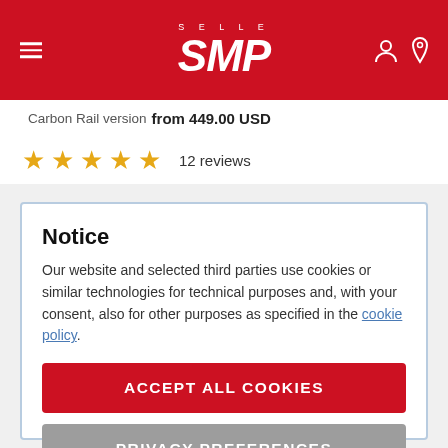[Figure (logo): Selle SMP logo in white italic text on red header background, with hamburger menu icon on left and user/location icons on right]
Carbon Rail version from 449.00 USD
★★★★★  12 reviews
Notice
Our website and selected third parties use cookies or similar technologies for technical purposes and, with your consent, also for other purposes as specified in the cookie policy.
ACCEPT ALL COOKIES
PRIVACY PREFERENCES